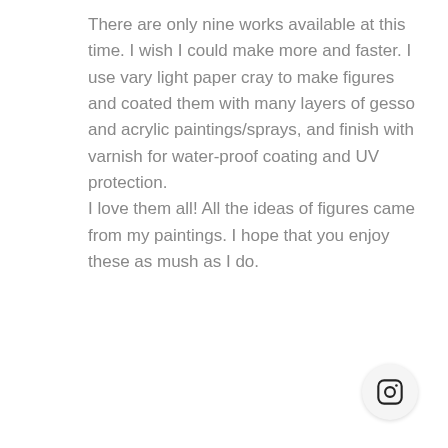There are only nine works available at this time. I wish I could make more and faster. I use vary light paper cray to make figures and coated them with many layers of gesso and acrylic paintings/sprays, and finish with varnish for water-proof coating and UV protection.
I love them all! All the ideas of figures came from my paintings. I hope that you enjoy these as mush as I do.
[Figure (logo): Instagram logo icon in a light gray circular button]